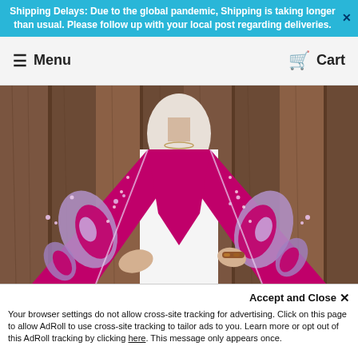Shipping Delays: Due to the global pandemic, Shipping is taking longer than usual. Please follow up with your local post regarding deliveries.
≡ Menu
🛒 Cart
[Figure (photo): Woman wearing a magenta and paisley-patterned shawl/scarf, standing in front of a wooden background. The shawl has intricate purple, lavender, and white paisley designs on a bright magenta/fuchsia border.]
Accept and Close ✕
Your browser settings do not allow cross-site tracking for advertising. Click on this page to allow AdRoll to use cross-site tracking to tailor ads to you. Learn more or opt out of this AdRoll tracking by clicking here. This message only appears once.